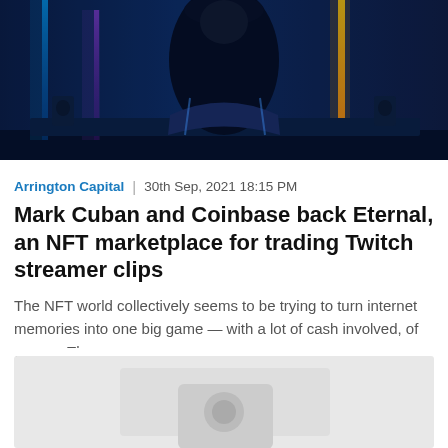[Figure (photo): Person sitting in a gaming chair viewed from behind, with neon blue and purple lighting in a dark gaming room setup]
Arrington Capital | 30th Sep, 2021 18:15 PM
Mark Cuban and Coinbase back Eternal, an NFT marketplace for trading Twitch streamer clips
The NFT world collectively seems to be trying to turn internet memories into one big game — with a lot of cash involved, of course. The...
Read more
[Figure (photo): Partially loaded or placeholder image with a light gray background and a small icon in the center]